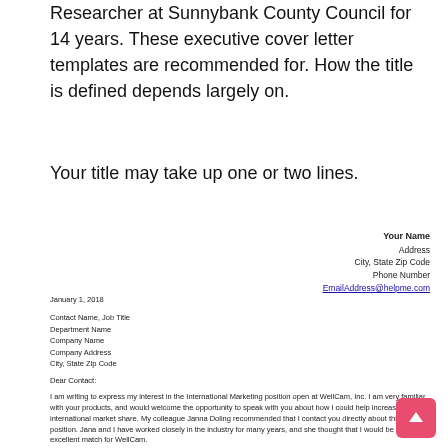Researcher at Sunnybank County Council for 14 years. These executive cover letter templates are recommended for. How the title is defined depends largely on.
Your title may take up one or two lines.
Your Name
Address
City, State Zip Code
Phone Number
EmailAddress@helpme.com
January 1, 2018

Contact Name, Job Title
Department Name
Company Name
Company Address
City, State Zip Code

Dear Contact:

I am writing to express my interest in the International Marketing position open at WellCam, Inc. I am very familiar with your products, and would welcome the opportunity to speak with you about how I could help increase your international market share. My colleague Janna Doling recommended that I contact you directly about this position. Jana and I have worked closely in the industry for many years, and she thought that I would be an excellent match for WellCam.

My extensive experience marketing similar products internationally has given me an overall knowledge of the business, directly applicable to your interest in increasing sales abroad. In my previous position as International Marketing Manager with ABC Company, I successfully increased our revenue in each of my territories by over 40% within my first year. In the six years I spent at ABC, I helped to establish a market share in an additional ten countries, while increasing revenue and profits in all locations.

I believe that I am an excellent candidate for the position you have advertised, and would very much like the opportunity to meet with you discuss what I have to offer WellCam, Inc. I will follow up next week by phone to see if we can set up an interview.